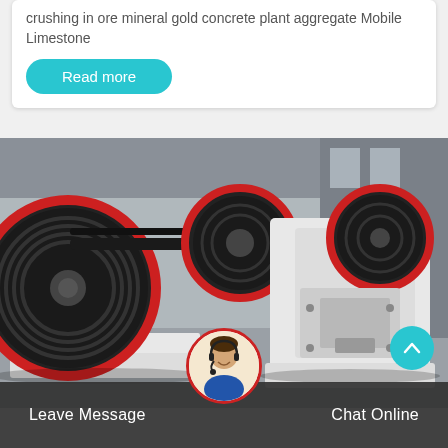crushing in ore mineral gold concrete plant aggregate Mobile Limestone
Read more
[Figure (photo): Industrial jaw crusher machines with large black flywheels with red rims, white painted heavy metal frames, displayed in a factory/warehouse setting. Two crushers visible side by side.]
Leave Message
Chat Online